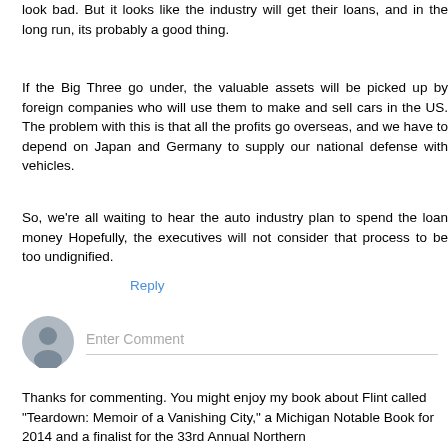look bad. But it looks like the industry will get their loans, and in the long run, its probably a good thing.
If the Big Three go under, the valuable assets will be picked up by foreign companies who will use them to make and sell cars in the US. The problem with this is that all the profits go overseas, and we have to depend on Japan and Germany to supply our national defense with vehicles.
So, we're all waiting to hear the auto industry plan to spend the loan money Hopefully, the executives will not consider that process to be too undignified.
Reply
[Figure (other): User avatar icon placeholder for comment entry]
Enter Comment
Thanks for commenting. You might enjoy my book about Flint called "Teardown: Memoir of a Vanishing City," a Michigan Notable Book for 2014 and a finalist for the 33rd Annual Northern